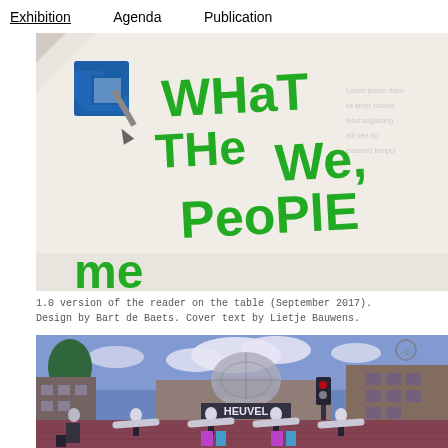Exhibition    Agenda    Publication
[Figure (photo): Close-up photo of a printed publication/reader on a table, showing green bold text reading 'WHAT THE WE, PEOPLE me...' with a blue logo/emblem visible in the upper left corner. The publication appears to be a reader or booklet. September 2017.]
1.0 version of the reader on the table (September 2017). Design by Bart de Baets. Cover text by Lietje Bauwens.
[Figure (photo): Outdoor photograph of performers in white costumes with outstretched arms (like wings) in a public square in front of the HEUVEL shopping center building, with a glass dome visible. Blue sky with clouds. Several performers are lined up, some with colorful bags/props at their feet. The square has red brick paving.]